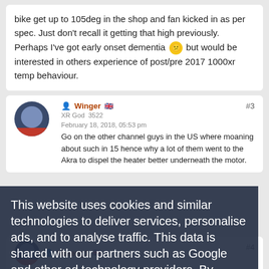bike get up to 105deg in the shop and fan kicked in as per spec. Just don't recall it getting that high previously. Perhaps I've got early onset dementia 😕 but would be interested in others experience of post/pre 2017 1000xr temp behaviour.
Winger | XR God | 3522 | #3
February 18, 2018, 05:53 pm
Cookie overlay: This website uses cookies and similar technologies to deliver services, personalise ads, and to analyse traffic. This data is shared with our partners such as Google and other ad technology providers. By continuing to use this website you agree to this.
View our Privacy and Cookie Policy
I Agree
Go on the other channel guys in the US where moaning about such in 15 hence why a lot of them went to the Akra to dispel the heater better underneath the motor.
Mareng1 | #4